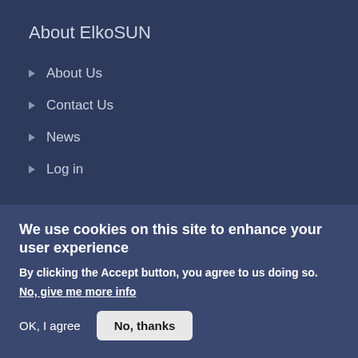About ElkoSUN
About Us
Contact Us
News
Log in
Contact
Address: Tržaška cesta 23, SI-2000 Maribor, Slovenia
We use cookies on this site to enhance your user experience
By clicking the Accept button, you agree to us doing so.
No, give me more info
OK, I agree
No, thanks